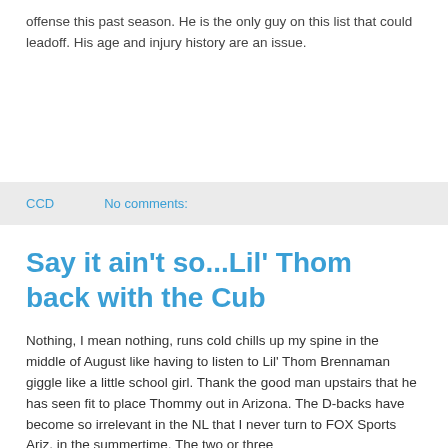offense this past season. He is the only guy on this list that could leadoff. His age and injury history are an issue.
CCD   No comments:
Say it ain't so...Lil' Thom back with the Cub
Nothing, I mean nothing, runs cold chills up my spine in the middle of August like having to listen to Lil' Thom Brennaman giggle like a little school girl. Thank the good man upstairs that he has seen fit to place Thommy out in Arizona. The D-backs have become so irrelevant in the NL that I never turn to FOX Sports Ariz. in the summertime. The two or three